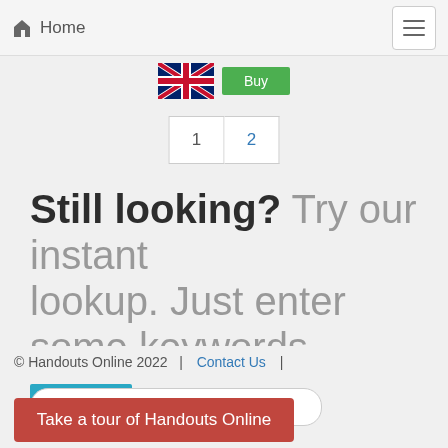Home
[Figure (screenshot): UK flag icon and green button partially visible]
1  2
Still looking? Try our instant lookup. Just enter some keywords.
Search Tips
© Handouts Online 2022  |  Contact Us  |
Take a tour of Handouts Online